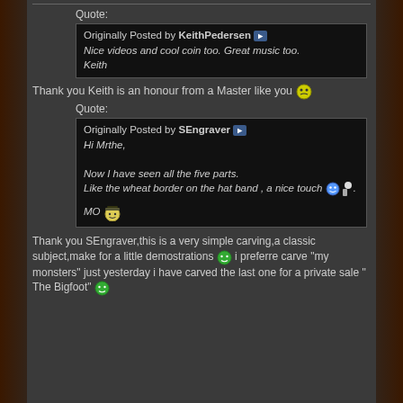Quote:
Originally Posted by KeithPedersen
Nice videos and cool coin too. Great music too.
Keith
Thank you Keith is an honour from a Master like you
Quote:
Originally Posted by SEngraver
Hi Mrthe,

Now I have seen all the five parts.
Like the wheat border on the hat band , a nice touch.

MO
Thank you SEngraver,this is a very simple carving,a classic subject,make for a little demostrations i preferre carve "my monsters" just yesterday i have carved the last one for a private sale " The Bigfoot"